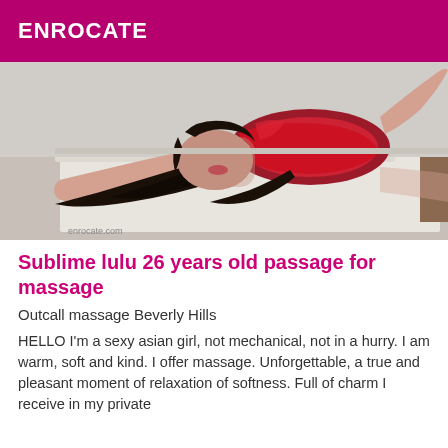ENROCATE
[Figure (photo): Woman in red dress lying on a massage table]
Sublime lulu 26 years old passage for massage
Outcall massage Beverly Hills
HELLO I'm a sexy asian girl, not mechanical, not in a hurry. I am warm, soft and kind. I offer massage. Unforgettable, a true and pleasant moment of relaxation of softness. Full of charm I receive in my private